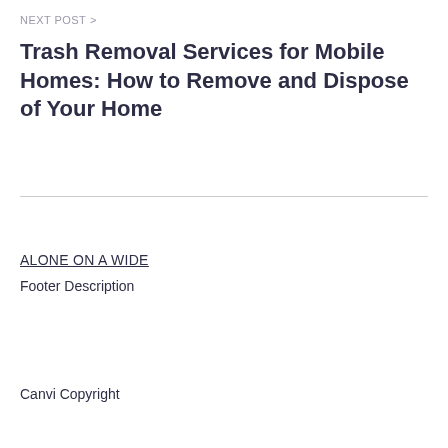NEXT POST >
Trash Removal Services for Mobile Homes: How to Remove and Dispose of Your Home
ALONE ON A WIDE
Footer Description
Canvi Copyright